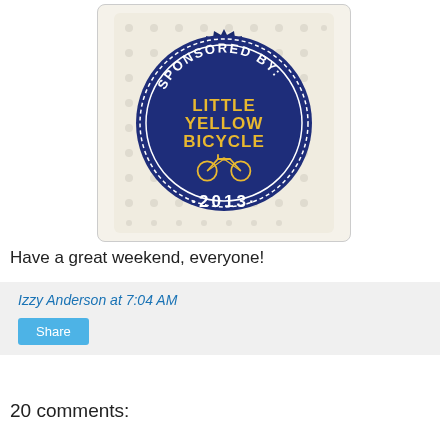[Figure (logo): Sponsored By: Little Yellow Bicycle 2013 badge/seal logo with dark navy blue circular seal, yellow text and bicycle illustration, on cream polka dot background]
Have a great weekend, everyone!
Izzy Anderson at 7:04 AM
Share
20 comments: